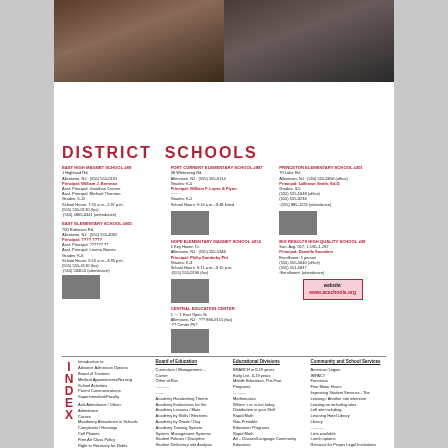[Figure (photo): Two people photographed from shoulders up against neutral backgrounds — a woman with long dark hair on the left, a man with dreadlocks on the right]
DISTRICT SCHOOLS
[Figure (infographic): District schools directory with school names, addresses, principal names, phone numbers, school hours, enrollment figures, and small photos of school buildings arranged in a 3-column grid. Includes a website box showing www.acschools.org]
[Figure (infographic): Index section with large red letters I, N, D, E, X on left side and multiple columns of index entries with page numbers]